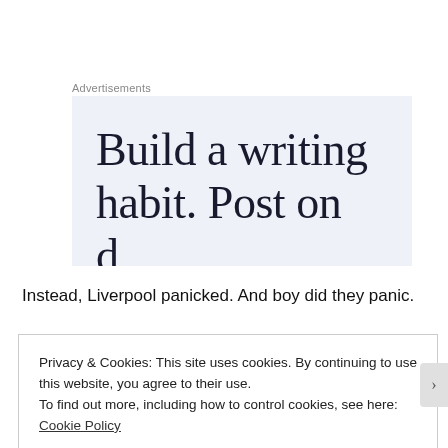Advertisements
[Figure (other): Advertisement banner with light blue background showing partial text: 'Build a writing habit. Post on' with more text cut off below]
Instead, Liverpool panicked. And boy did they panic.
Privacy & Cookies: This site uses cookies. By continuing to use this website, you agree to their use.
To find out more, including how to control cookies, see here: Cookie Policy
Close and accept